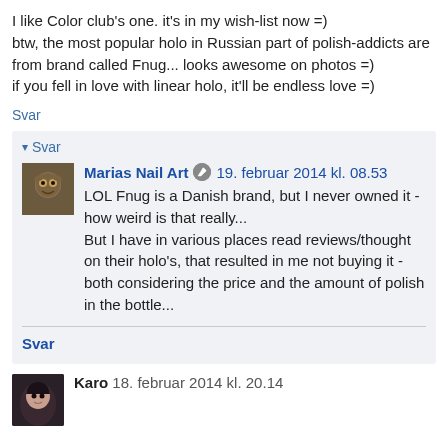I like Color club's one. it's in my wish-list now =)
btw, the most popular holo in Russian part of polish-addicts are from brand called Fnug... looks awesome on photos =)
if you fell in love with linear holo, it'll be endless love =)
Svar
▾ Svar
Marias Nail Art  19. februar 2014 kl. 08.53
LOL Fnug is a Danish brand, but I never owned it - how weird is that really...
But I have in various places read reviews/thought on their holo's, that resulted in me not buying it - both considering the price and the amount of polish in the bottle...
Svar
Karo 18. februar 2014 kl. 20.14